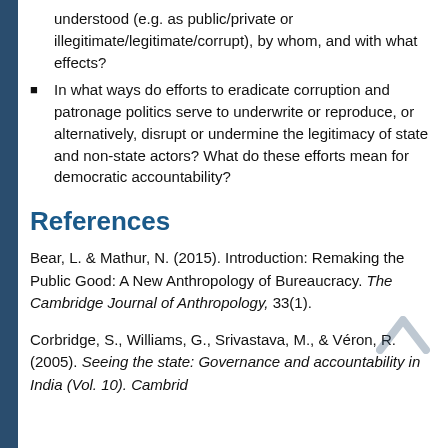understood (e.g. as public/private or illegitimate/legitimate/corrupt), by whom, and with what effects?
In what ways do efforts to eradicate corruption and patronage politics serve to underwrite or reproduce, or alternatively, disrupt or undermine the legitimacy of state and non-state actors? What do these efforts mean for democratic accountability?
References
Bear, L. & Mathur, N. (2015). Introduction: Remaking the Public Good: A New Anthropology of Bureaucracy. The Cambridge Journal of Anthropology, 33(1).
Corbridge, S., Williams, G., Srivastava, M., & Véron, R. (2005). Seeing the state: Governance and accountability in India (Vol. 10). Cambridge...